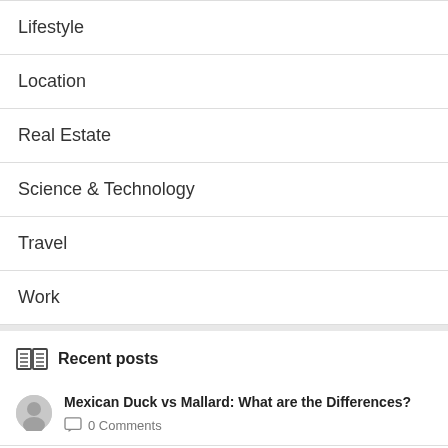Lifestyle
Location
Real Estate
Science & Technology
Travel
Work
Recent posts
Mexican Duck vs Mallard: What are the Differences?
0 Comments
How Deep Is Texas' Canyon Lake?
0 Comments